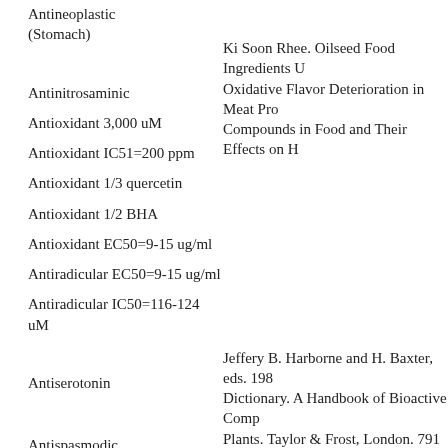Antineoplastic (Stomach)
Ki Soon Rhee. Oilseed Food Ingredients Utilizede to Minimize Oxidative Flavor Deterioration in Meat Products. Phenolic Compounds in Food and Their Effects on Health...
Antinitrosaminic
Antioxidant 3,000 uM
Antioxidant IC51=200 ppm
Antioxidant 1/3 quercetin
Antioxidant 1/2 BHA
Antioxidant EC50=9-15 ug/ml
Antiradicular EC50=9-15 ug/ml
Antiradicular IC50=116-124 uM
Jeffery B. Harborne and H. Baxter, eds. 1983. Phytochemical Dictionary. A Handbook of Bioactive Compounds from Plants. Taylor & Frost, London. 791 pp.
Antieserotonin
Leung, A. Y. and Foster, S. 1995. Encyclopedia of Common Natural Ingredients 2nd Ed. John Wiley & Sons, New York. 649 pp.
Antispasmodic